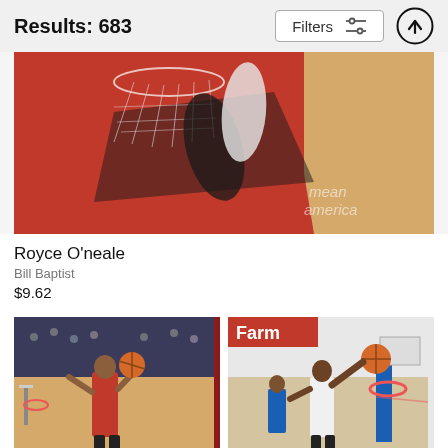Results: 683
Filters
[Figure (photo): Aerial/top-down view of NBA basketball game near the basket, players scrambling, red court paint visible, partial court markings, 'mean america' watermark]
Royce O'neale
Bill Baptist
$9.62
[Figure (photo): NBA player in red New Orleans Pelicans jersey going up for a dunk/layup in packed arena]
[Figure (photo): NBA player in white uniform going up for a shot near the basket, 'Farm' sponsor signage visible in background]